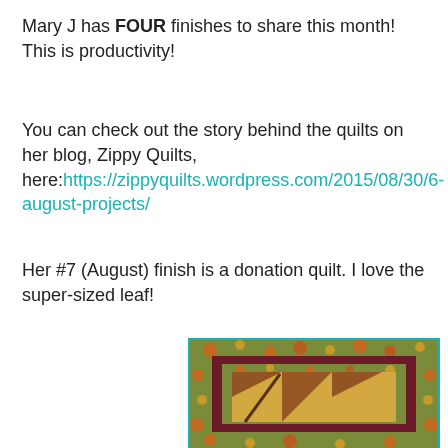Mary J has FOUR finishes to share this month! This is productivity!
You can check out the story behind the quilts on her blog, Zippy Quilts, here:https://zippyquilts.wordpress.com/2015/08/30/6-august-projects/
Her #7 (August) finish is a donation quilt. I love the super-sized leaf!
[Figure (photo): Close-up photo of a donation quilt showing a large leaf pattern made with autumn/harvest-themed fabric featuring pumpkins and fall colors, with deep burgundy and tan/gold fabric blocks arranged in a geometric leaf design, bordered by floral patterned fabric.]